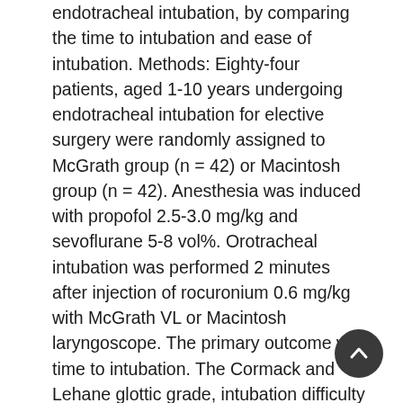endotracheal intubation, by comparing the time to intubation and ease of intubation. Methods: Eighty-four patients, aged 1-10 years undergoing endotracheal intubation for elective surgery were randomly assigned to McGrath group (n = 42) or Macintosh group (n = 42). Anesthesia was induced with propofol 2.5-3.0 mg/kg and sevoflurane 5-8 vol%. Orotracheal intubation was performed 2 minutes after injection of rocuronium 0.6 mg/kg with McGrath VL or Macintosh laryngoscope. The primary outcome was time to intubation. The Cormack and Lehane glottic grade, intubation difficulty score (IDS), and success rate of intubation were assessed. Hemodynamic changes also were recorded. Results: Median time to intubation [interquartile range] was not different between the McGrath group and the Macintosh group (25.0 [22.8-28.3] s vs. 26.0 [24.0-29.0] s, p = 0.301). The incidence of grade I glottic view was significantly